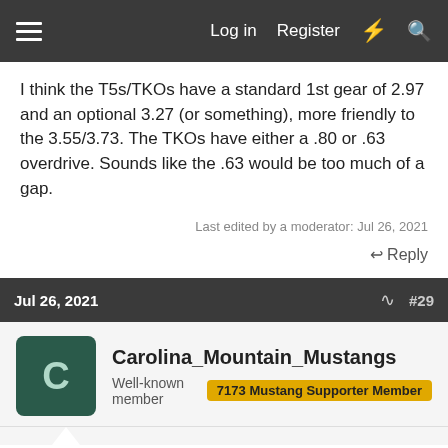Log in  Register
I think the T5s/TKOs have a standard 1st gear of 2.97 and an optional 3.27 (or something), more friendly to the 3.55/3.73. The TKOs have either a .80 or .63 overdrive. Sounds like the .63 would be too much of a gap.
Last edited by a moderator: Jul 26, 2021
Reply
Jul 26, 2021  #29
Carolina_Mountain_Mustangs
Well-known member  7173 Mustang Supporter Member
A question for you. Does your leaf springs still have the clamps around them to hold them together? If not you need them to help with spring wrap up.